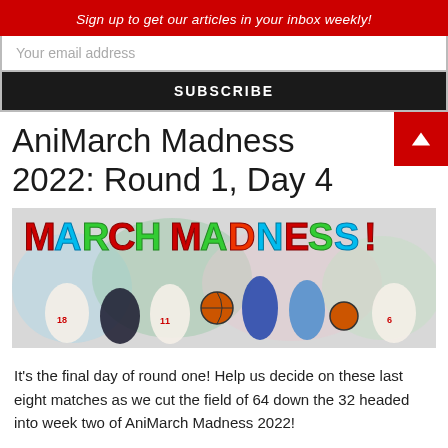Sign up to get our articles in your inbox weekly!
Your email address
SUBSCRIBE
AniMarch Madness 2022: Round 1, Day 4
[Figure (illustration): Anime characters from Kuroko's Basketball posed in front of colorful 'MARCH MADNESS' text banner]
It's the final day of round one! Help us decide on these last eight matches as we cut the field of 64 down the 32 headed into week two of AniMarch Madness 2022!